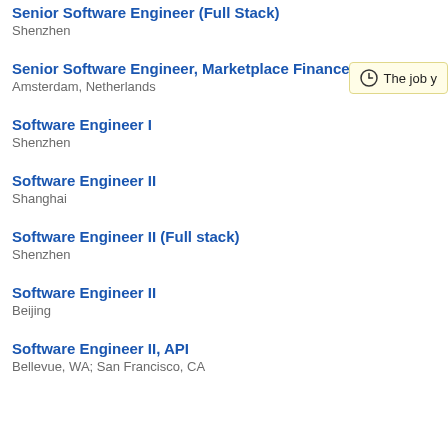Senior Software Engineer (Full Stack)
Shenzhen
Senior Software Engineer, Marketplace Finance
Amsterdam, Netherlands
Software Engineer I
Shenzhen
Software Engineer II
Shanghai
Software Engineer II (Full stack)
Shenzhen
Software Engineer II
Beijing
Software Engineer II, API
Bellevue, WA; San Francisco, CA